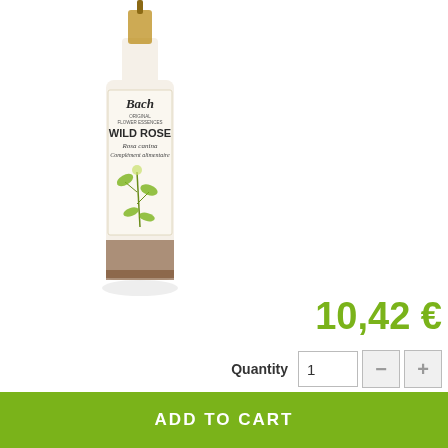[Figure (photo): Bach Flowers Wild Rose product bottle — a small tinted glass bottle with dropper, white label featuring 'Bach' script, 'WILD ROSE', 'Rosa canina', 'Complément alimentaire', and botanical illustration of rose plant in olive green.]
10,42 €
Quantity
In stock
Reference: 5000488103755
Bach Flowers - Wild Rose Ref. 783 989 8
Tinted bottle with dropper 20ml
Rosehip (Rosa canina)
🏴 Earn 10 points loyalty in buying this product
ADD TO CART